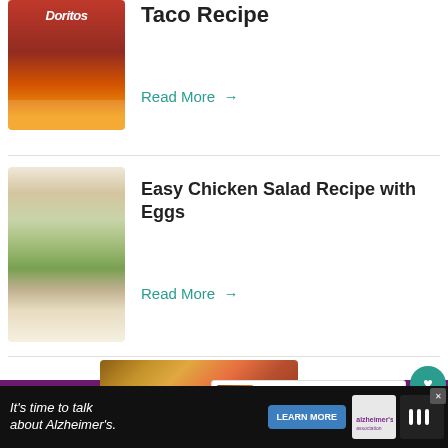[Figure (photo): Bag of Doritos chips, partially visible at top]
Taco Recipe
Read More →
[Figure (photo): Chicken salad sandwich on dark bread with lettuce, on a white plate]
Easy Chicken Salad Recipe with Eggs
Read More →
[Figure (photo): Close-up of a crumbly baked dish with red tomato strips and oat topping]
WHAT'S NEXT → Perfect Instant Pot Sweet...
9
It's time to talk about Alzheimer's. LEARN MORE